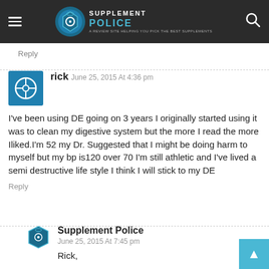Supplement Police
Reply
rick  June 25, 2015 At 4:36 pm
I've been using DE going on 3 years I originally started using it was to clean my digestive system but the more I read the more Iliked.I'm 52 my Dr. Suggested that I might be doing harm to myself but my bp is120 over 70 I'm still athletic and I've lived a semi destructive life style I think I will stick to my DE
Reply
Supplement Police
June 25, 2015 At 7:45 pm
Rick,

Thanks for stopping by to leave a comment. We